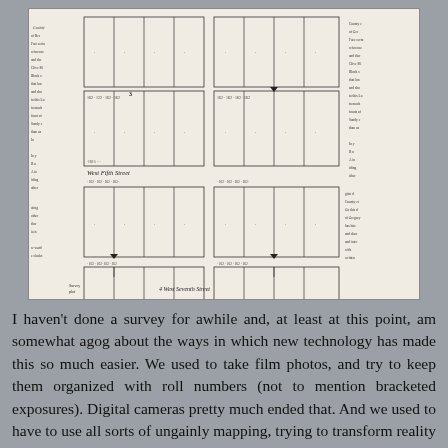[Figure (map): A historical land survey/plat map showing city blocks with lot divisions. The map shows multiple blocks divided into lots with small handwritten numbers and labels. Streets labeled include 'West Fifth Street' and 'West Seventh Street'. Handwritten notes appear in the margins on the left and right sides of the map.]
I haven't done a survey for awhile and, at least at this point, am somewhat agog about the ways in which new technology has made this so much easier.  We used to take film photos, and try to keep them organized with roll numbers (not to mention bracketed exposures).  Digital cameras pretty much ended that.  And we used to have to use all sorts of ungainly mapping, trying to transform reality into something that could fit in your hand, in the field, or on your desk, when you were